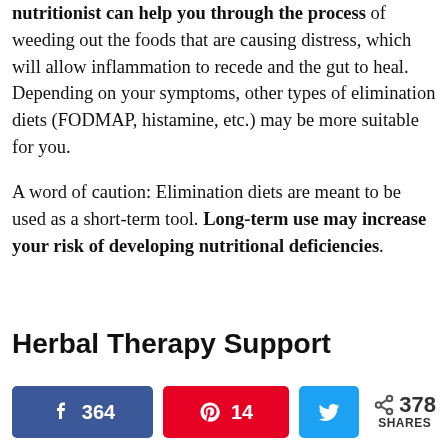nutritionist can help you through the process of weeding out the foods that are causing distress, which will allow inflammation to recede and the gut to heal. Depending on your symptoms, other types of elimination diets (FODMAP, histamine, etc.) may be more suitable for you.

A word of caution: Elimination diets are meant to be used as a short-term tool. Long-term use may increase your risk of developing nutritional deficiencies.
Herbal Therapy Support
[Figure (other): Social share bar with Facebook (364), Pinterest (14), Twitter, and total 378 shares]